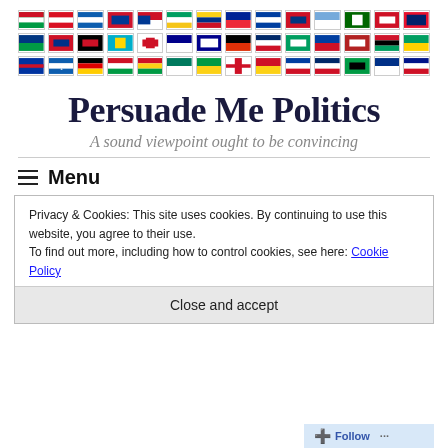[Figure (illustration): Three rows of country flags displayed in a horizontal strip at the top of the page]
Persuade Me Politics
A sound viewpoint ought to be convincing
≡  Menu
Privacy & Cookies: This site uses cookies. By continuing to use this website, you agree to their use.
To find out more, including how to control cookies, see here: Cookie Policy
Close and accept